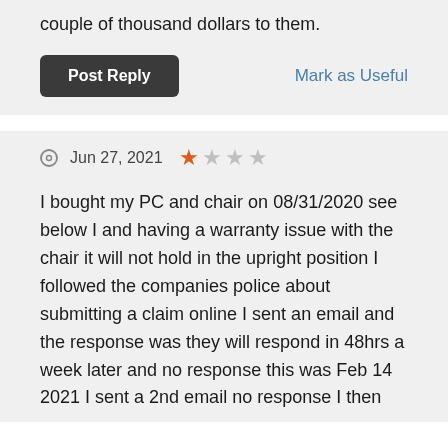couple of thousand dollars to them.
Post Reply
Mark as Useful
Jun 27, 2021
I bought my PC and chair on 08/31/2020 see below I and having a warranty issue with the chair it will not hold in the upright position I followed the companies police about submitting a claim online I sent an email and the response was they will respond in 48hrs a week later and no response this was Feb 14 2021 I sent a 2nd email no response I then